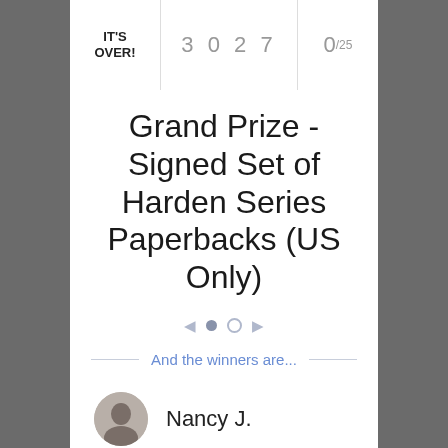IT'S OVER!
3 0 2 7
0/25
Grand Prize - Signed Set of Harden Series Paperbacks (US Only)
And the winners are...
Nancy J.
CJ S.